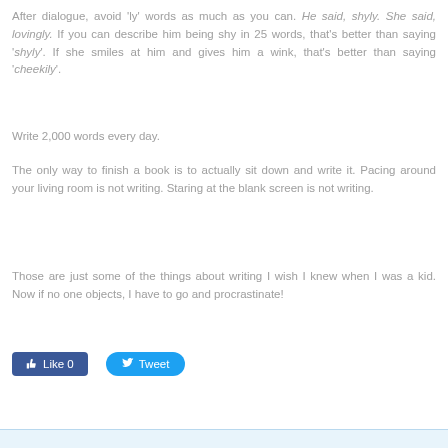After dialogue, avoid 'ly' words as much as you can. He said, shyly. She said, lovingly. If you can describe him being shy in 25 words, that's better than saying 'shyly'. If she smiles at him and gives him a wink, that's better than saying 'cheekily'.
Write 2,000 words every day.
The only way to finish a book is to actually sit down and write it. Pacing around your living room is not writing. Staring at the blank screen is not writing.
Those are just some of the things about writing I wish I knew when I was a kid. Now if no one objects, I have to go and procrastinate!
[Figure (other): Facebook Like button and Twitter Tweet button]